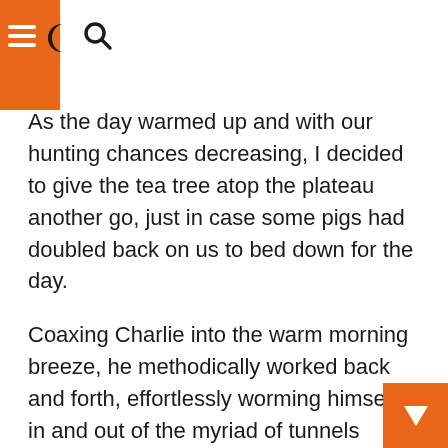As the day warmed up and with our hunting chances decreasing, I decided to give the tea tree atop the plateau another go, just in case some pigs had doubled back on us to bed down for the day.
Coaxing Charlie into the warm morning breeze, he methodically worked back and forth, effortlessly worming himself in and out of the myriad of tunnels formed by a variety of animals, including pigs.
Charlie abruptly stopped and pointed in the classic GSP style, freezing in the direction of a large clump of tightly packed heath-like bushes with some curious-looking tunnels leading into it.  No sooner had he commenced pointing, when the sound of